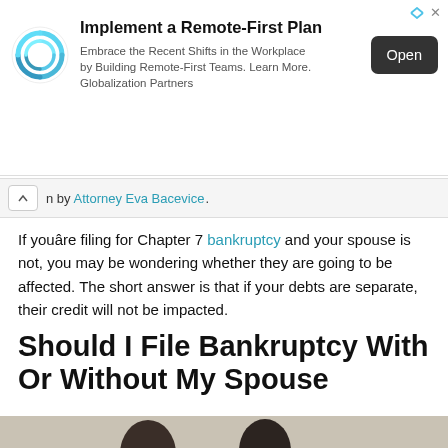[Figure (other): Advertisement banner: 'Implement a Remote-First Plan' with circular blue icon, body text 'Embrace the Recent Shifts in the Workplace by Building Remote-First Teams. Learn More. Globalization Partners', and a dark 'Open' button]
n by Attorney Eva Bacevice .
If youâre filing for Chapter 7 bankruptcy and your spouse is not, you may be wondering whether they are going to be affected. The short answer is that if your debts are separate, their credit will not be impacted.
Should I File Bankruptcy With Or Without My Spouse
[Figure (photo): Photo of two women, partially visible, cropped at bottom of page]